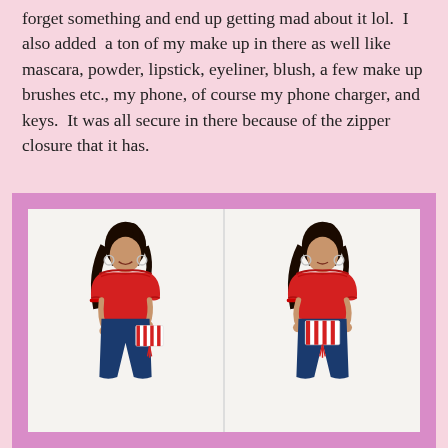forget something and end up getting mad about it lol.  I also added  a ton of my make up in there as well like mascara, powder, lipstick, eyeliner, blush, a few make up brushes etc., my phone, of course my phone charger, and keys.  It was all secure in there because of the zipper closure that it has.
[Figure (photo): Two side-by-side photos of a woman wearing a red off-the-shoulder ruffled top with dark jeans, large hoop earrings, and a red bracelet. She is holding a red and white striped clutch bag with a red tassel. Left photo shows front view, right photo shows a slightly different pose.]